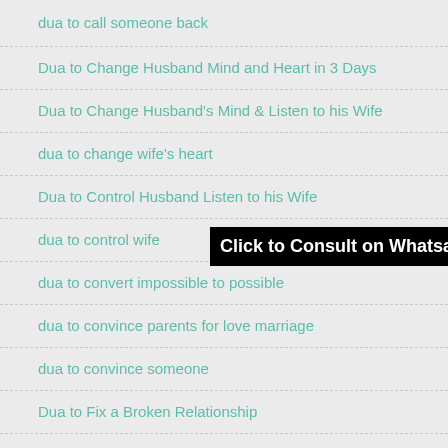dua to call someone back
Dua to Change Husband Mind and Heart in 3 Days
Dua to Change Husband's Mind & Listen to his Wife
dua to change wife's heart
Dua to Control Husband Listen to his Wife
dua to control wife
dua to convert impossible to possible
dua to convince parents for love marriage
dua to convince someone
Dua to Fix a Broken Relationship
[Figure (other): Black button overlay with text 'Click to Consult on Whatsapp']